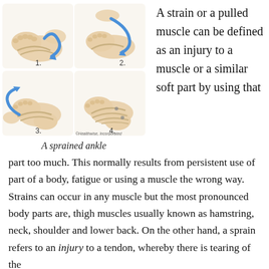[Figure (illustration): Four-panel illustration showing steps of ankle bandaging/strapping technique, numbered 1 through 4, with blue arrows indicating wrapping direction. Copyright Healthwise, Incorporated.]
A sprained ankle
A strain or a pulled muscle can be defined as an injury to a muscle or a similar soft part by using that part too much. This normally results from persistent use of part of a body, fatigue or using a muscle the wrong way. Strains can occur in any muscle but the most pronounced body parts are, thigh muscles usually known as hamstring, neck, shoulder and lower back. On the other hand, a sprain refers to an injury to a tendon, whereby there is tearing of the